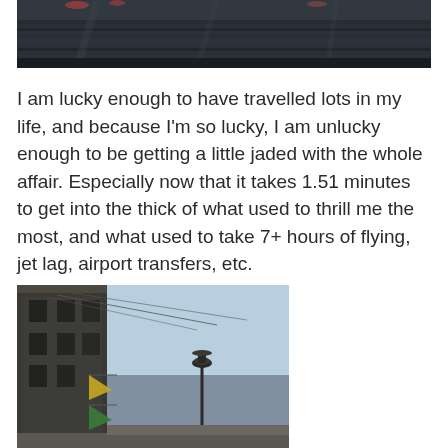[Figure (photo): Dark water surface with ripples and reflections, appearing to be a river or canal at dusk or night]
I am lucky enough to have travelled lots in my life, and because I'm so lucky, I am unlucky enough to be getting a little jaded with the whole affair. Especially now that it takes 1.51 minutes to get into the thick of what used to thrill me the most, and what used to take 7+ hours of flying, jet lag, airport transfers, etc.
[Figure (photo): Street-level view of a historic building facade with flags hanging from it, a lamp post visible, and a clear light blue sky in the background]